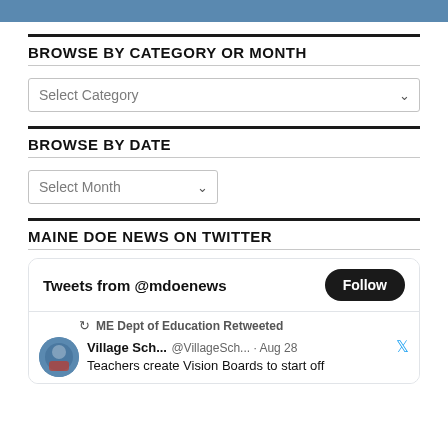[Figure (photo): Partial blue image at the top of the page]
BROWSE BY CATEGORY OR MONTH
Select Category (dropdown)
BROWSE BY DATE
Select Month (dropdown)
MAINE DOE NEWS ON TWITTER
[Figure (screenshot): Twitter widget embed showing 'Tweets from @mdoenews' with a Follow button, a retweet by ME Dept of Education, and a tweet from Village Sch... (@VillageSch...) on Aug 28: 'Teachers create Vision Boards to start off']